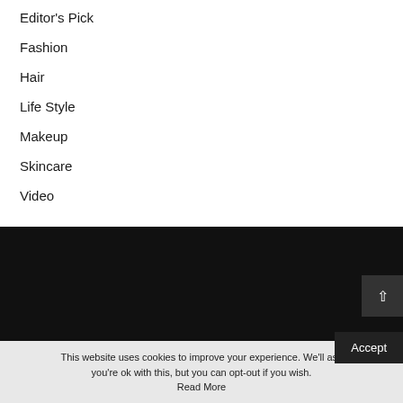Editor's Pick
Fashion
Hair
Life Style
Makeup
Skincare
Video
[Figure (logo): LUXURY text logo in gold/tan color on black background]
This website uses cookies to improve your experience. We'll ass you're ok with this, but you can opt-out if you wish. Accept Read More